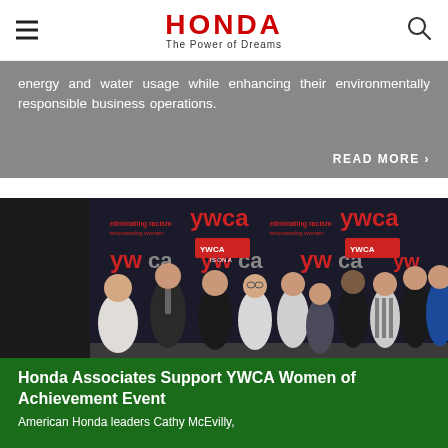HONDA — The Power of Dreams
energy and water usage while enhancing their environmentally responsible business operations.
READ MORE >
[Figure (photo): Group photo of approximately 10 Honda associates (men and women) standing in front of a YWCA branded backdrop that reads 'eliminating racism empowering women'. The group is smiling at the camera.]
Honda Associates Support YWCA Women of Achievement Event
American Honda leaders Cathy McEvilly,